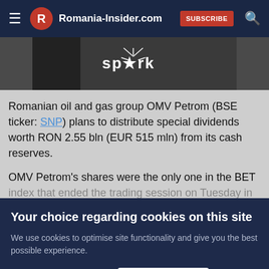Romania-Insider.com SUBSCRIBE
[Figure (photo): Partial image showing a person with 'spark' logo/text overlay in white on dark background]
Romanian oil and gas group OMV Petrom (BSE ticker: SNP) plans to distribute special dividends worth RON 2.55 bln (EUR 515 mln) from its cash reserves.
OMV Petrom's shares were the only one in the BET index that ended the trading session on Tuesday in
Your choice regarding cookies on this site
We use cookies to optimise site functionality and give you the best possible experience.
Accept
Cookie Preferences